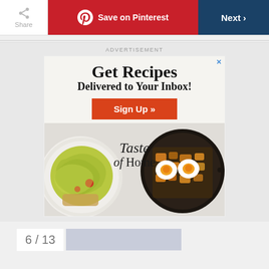Share | Save on Pinterest | Next >
ADVERTISEMENT
[Figure (infographic): Advertisement banner for Taste of Home: Get Recipes Delivered to Your Inbox! Sign Up button, with food images on left and right]
6 / 13